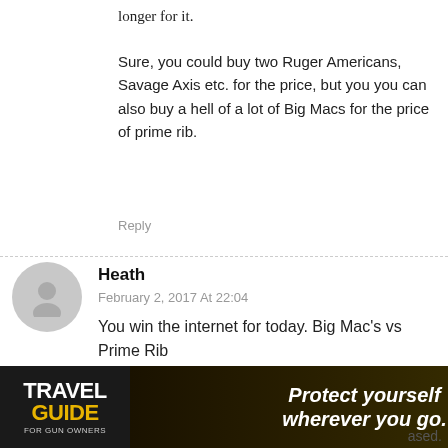longer for it.
Sure, you could buy two Ruger Americans, Savage Axis etc. for the price, but you you can also buy a hell of a lot of Big Macs for the price of prime rib.
Reply
Heath
February 2, 2017 At 22:04
You win the internet for today. Big Mac's vs Prime Rib
Reply
Warren
ased.
[Figure (other): Travel Guide for Gun Owners advertisement banner: dark background with text 'Protect yourself wherever you go.' and US LawShield logo]